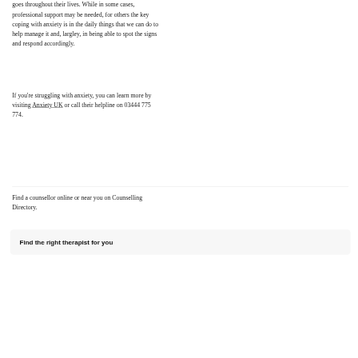goes throughout their lives. While in some cases, professional support may be needed, for others the key coping with anxiety is in the daily things that we can do to help manage it and, largley, in being able to spot the signs and respond accordingly.
If you're struggling with anxiety, you can learn more by visiting Anxiety UK or call their helpline on 03444 775 774.
Find a counsellor online or near you on Counselling Directory.
Find the right therapist for you